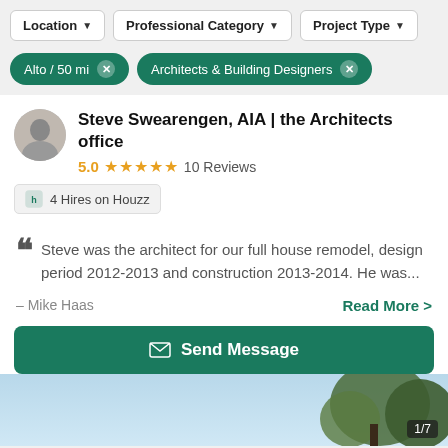Location | Professional Category | Project Type
Alto / 50 mi  ×   Architects & Building Designers  ×
Steve Swearengen, AIA | the Architects office
5.0  ★★★★★  10 Reviews
4 Hires on Houzz
Steve was the architect for our full house remodel, design period 2012-2013 and construction 2013-2014. He was...
– Mike Haas    Read More >
Send Message
[Figure (photo): Outdoor landscape photo showing sky and trees, with a 1/7 photo counter badge in the bottom right corner.]